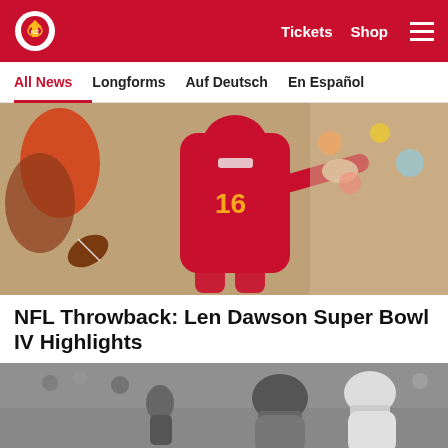Kansas City Chiefs – Tickets  Shop  [menu]
All News  Longforms  Auf Deutsch  En Español
[Figure (photo): Color photo of Kansas City Chiefs quarterback in red jersey number 16 (Len Dawson) throwing a football, crowd visible in background]
NFL Throwback: Len Dawson Super Bowl IV Highlights
[Figure (photo): Black and white photo of football players from a historic game, one player wearing Chiefs helmet, another wearing a white helmet]
Social share icons: Facebook, Twitter, Email, Link